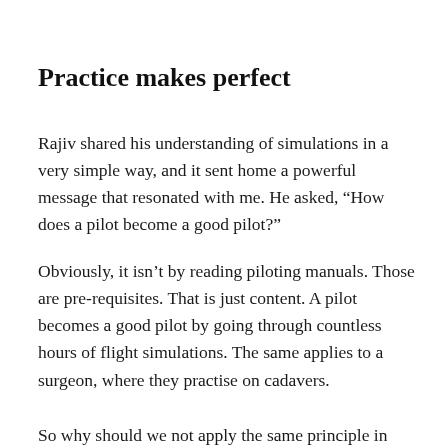Practice makes perfect
Rajiv shared his understanding of simulations in a very simple way, and it sent home a powerful message that resonated with me. He asked, “How does a pilot become a good pilot?”
Obviously, it isn’t by reading piloting manuals. Those are pre-requisites. That is just content. A pilot becomes a good pilot by going through countless hours of flight simulations. The same applies to a surgeon, where they practise on cadavers.
So why should we not apply the same principle in